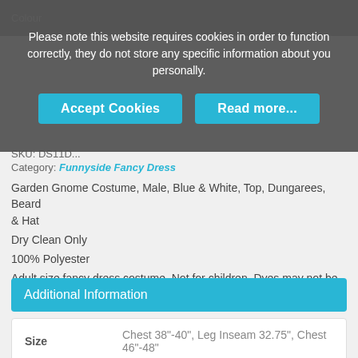Please note this website requires cookies in order to function correctly, they do not store any specific information about you personally.
Accept Cookies   Read more...
SKU: DS11D...
Category: Funnyside Fancy Dress
Garden Gnome Costume, Male, Blue & White, Top, Dungarees, Beard & Hat
Dry Clean Only
100% Polyester
Adult size fancy dress costume. Not for children. Dyes may not be colourfast. Warning! Keep away from fire.
Additional Information
| Size | Colour |
| --- | --- |
| Chest 38"-40", Leg Inseam 32.75", Chest 46"-48" | BLUE&WHTE |